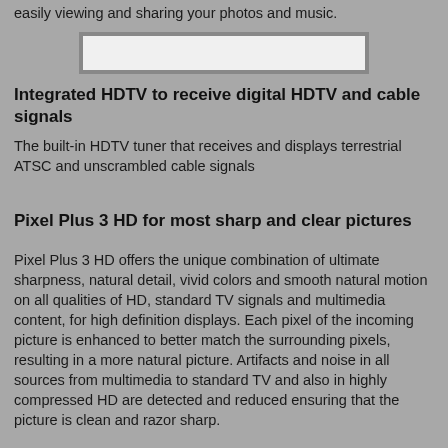easily viewing and sharing your photos and music.
[Figure (other): White rectangular image placeholder with gray border]
Integrated HDTV to receive digital HDTV and cable signals
The built-in HDTV tuner that receives and displays terrestrial ATSC and unscrambled cable signals
Pixel Plus 3 HD for most sharp and clear pictures
Pixel Plus 3 HD offers the unique combination of ultimate sharpness, natural detail, vivid colors and smooth natural motion on all qualities of HD, standard TV signals and multimedia content, for high definition displays. Each pixel of the incoming picture is enhanced to better match the surrounding pixels, resulting in a more natural picture. Artifacts and noise in all sources from multimedia to standard TV and also in highly compressed HD are detected and reduced ensuring that the picture is clean and razor sharp.